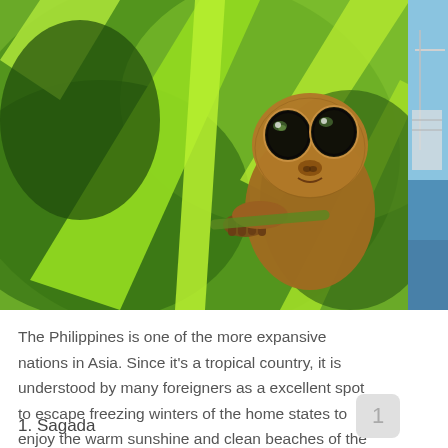[Figure (photo): Close-up photo of a Philippine tarsier clinging to green leaves/branches, with large round eyes visible, in a tropical green setting. Right edge shows partial water/harbor scene.]
The Philippines is one of the more expansive nations in Asia. Since it's a tropical country, it is understood by many foreigners as a excellent spot to escape freezing winters of the home states to enjoy the warm sunshine and clean beaches of the islands.
1. Sagada